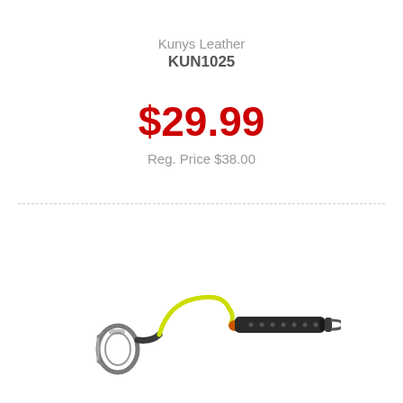Kunys Leather
KUN1025
$29.99
Reg. Price $38.00
[Figure (photo): A tool lanyard/tether with a yellow bungee cord loop, dark grey woven strap with perforations, an aluminum carabiner clip on one end, and a hook on the other end.]